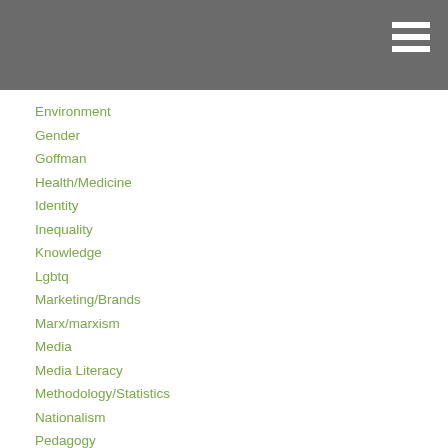Environment
Gender
Goffman
Health/Medicine
Identity
Inequality
Knowledge
Lgbtq
Marketing/Brands
Marx/marxism
Media
Media Literacy
Methodology/Statistics
Nationalism
Pedagogy
Podcast
Prejudice/Discrimination
Psychology/Social Psychology
Public Sociology
Race/Ethnicity
Science/Technology
Sex/Sexuality
Social Construction
Social Mvmts/Social Change/Resistance
Sociology Careers
Teaching Techniques